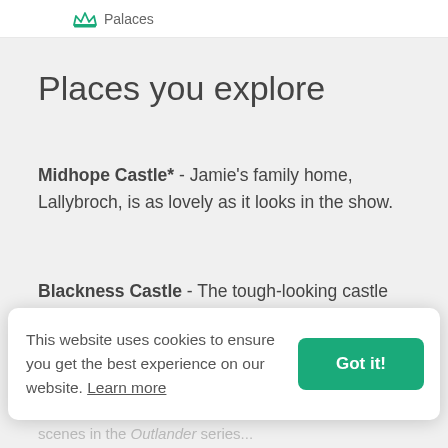Palaces
Places you explore
Midhope Castle* - Jamie's family home, Lallybroch, is as lovely as it looks in the show.
Blackness Castle - The tough-looking castle looks like it could fend off an entire empire. And in Outlander, it impersonates Fort William.
This website uses cookies to ensure you get the best experience on our website. Learn more
scenes in the Outlander series...